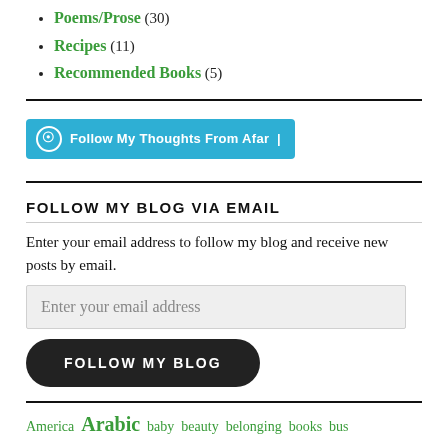Poems/Prose (30)
Recipes (11)
Recommended Books (5)
[Figure (other): WordPress Follow button: 'Follow My Thoughts From Afar |' in teal/blue]
FOLLOW MY BLOG VIA EMAIL
Enter your email address to follow my blog and receive new posts by email.
Enter your email address
FOLLOW MY BLOG
America  Arabic  baby  beauty  belonging  books  bus